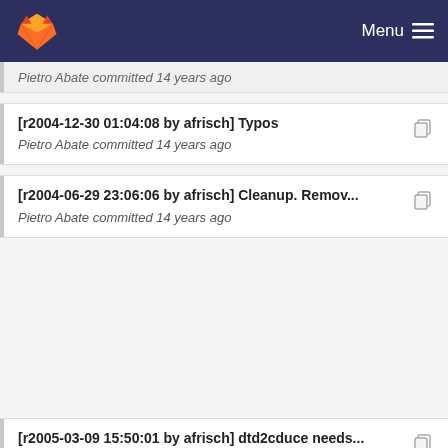Menu
Pietro Abate committed 14 years ago
[r2004-12-30 01:04:08 by afrisch] Typos
Pietro Abate committed 14 years ago
[r2004-06-29 23:06:06 by afrisch] Cleanup. Remov...
Pietro Abate committed 14 years ago
[r2005-03-09 15:50:01 by afrisch] dtd2cduce needs...
Pietro Abate committed 14 years ago